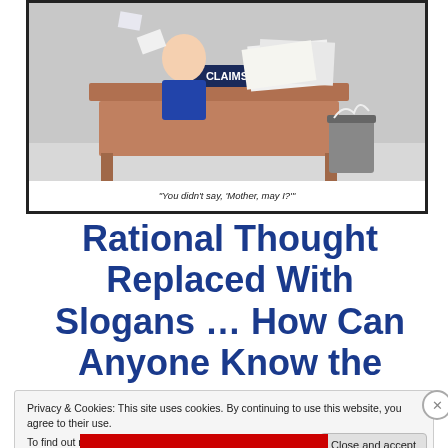[Figure (illustration): Cartoon of a claims desk with a sign reading 'CLAIMS', papers and a trash bin, office setting. Caption reads: "You didn't say, 'Mother, may I?'"]
"You didn't say, 'Mother, may I?'"
Rational Thought Replaced With Slogans ... How Can Anyone Know the Truth?
Privacy & Cookies: This site uses cookies. By continuing to use this website, you agree to their use.
To find out more, including how to control cookies, see here: Cookie Policy